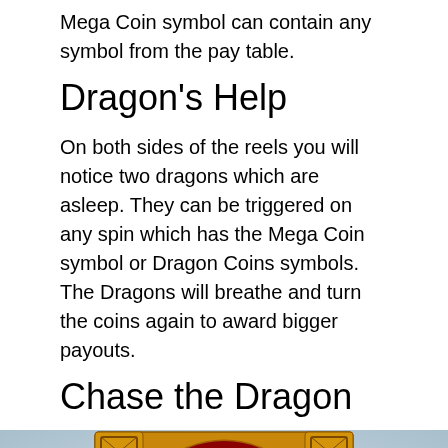Mega Coin symbol can contain any symbol from the pay table.
Dragon's Help
On both sides of the reels you will notice two dragons which are asleep. They can be triggered on any spin which has the Mega Coin symbol or Dragon Coins symbols. The Dragons will breathe and turn the coins again to award bigger payouts.
Chase the Dragon
[Figure (illustration): A golden dragon coin medallion with a fierce dragon face in the center, surrounded by a red circular border with ornate gold frame corners, on a light blue-grey background.]